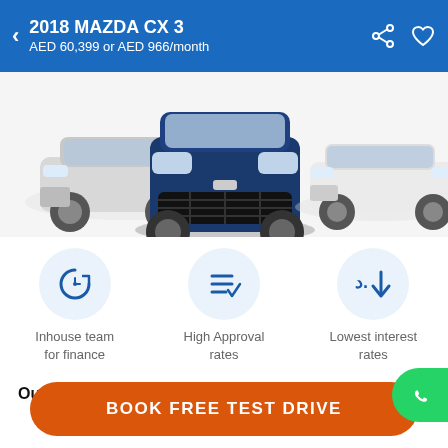2018 MAZDA CX 3 — AED 60,399 or AED 966/month
[Figure (photo): Three cars shown from the front: silver SUV on left, dark blue SUV in center (closest), white sedan on right, on a white background.]
[Figure (infographic): Three circular icons with labels: 1) Inhouse team for finance (circular arrow with clock icon), 2) High Approval rates (three lines with checkmark icon), 3) Lowest interest rates (Arabic currency symbol with down arrow icon)]
Inhouse team for finance
High Approval rates
Lowest interest rates
Our Partnered banks
BOOK FREE TEST DRIVE